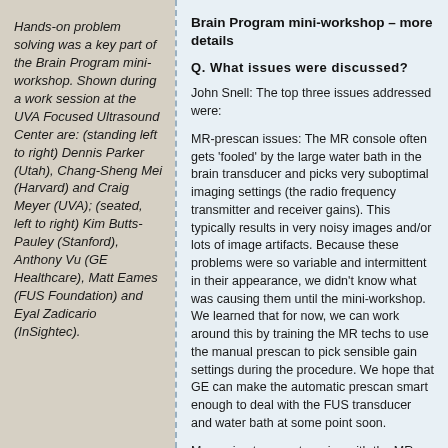Hands-on problem solving was a key part of the Brain Program mini-workshop. Shown during a work session at the UVA Focused Ultrasound Center are: (standing left to right) Dennis Parker (Utah), Chang-Sheng Mei (Harvard) and Craig Meyer (UVA); (seated, left to right) Kim Butts-Pauley (Stanford), Anthony Vu (GE Healthcare), Matt Eames (FUS Foundation) and Eyal Zadicario (InSightec).
Brain Program mini-workshop – more details
Q. What issues were discussed?
John Snell: The top three issues addressed were:
MR-prescan issues: The MR console often gets 'fooled' by the large water bath in the brain transducer and picks very suboptimal imaging settings (the radio frequency transmitter and receiver gains). This typically results in very noisy images and/or lots of image artifacts. Because these problems were so variable and intermittent in their appearance, we didn't know what was causing them until the mini-workshop. We learned that for now, we can work around this by training the MR techs to use the manual prescan to pick sensible gain settings during the procedure. We hope that GE can make the automatic prescan smart enough to deal with the FUS transducer and water bath at some point soon.
Measuring temperature rise with the MR can currently be problematic because the thermometry images often are shifted